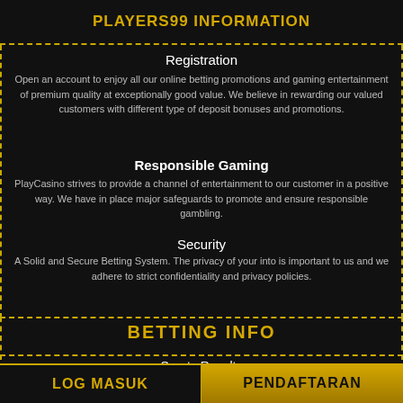PLAYERS99 INFORMATION
Registration
Open an account to enjoy all our online betting promotions and gaming entertainment of premium quality at exceptionally good value. We believe in rewarding our valued customers with different type of deposit bonuses and promotions.
Responsible Gaming
PlayCasino strives to provide a channel of entertainment to our customer in a positive way. We have in place major safeguards to promote and ensure responsible gambling.
Security
A Solid and Secure Betting System. The privacy of your into is important to us and we adhere to strict confidentiality and privacy policies.
BETTING INFO
Sports Results
Get all of the results from sports and matches we offer.
Sports Betting
LOG MASUK   PENDAFTARAN